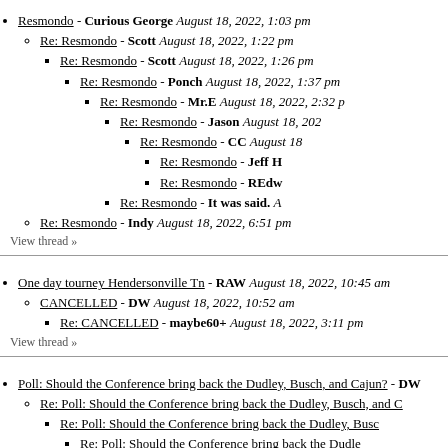Resmondo - Curious George August 18, 2022, 1:03 pm
Re: Resmondo - Scott August 18, 2022, 1:22 pm
Re: Resmondo - Scott August 18, 2022, 1:26 pm
Re: Resmondo - Ponch August 18, 2022, 1:37 pm
Re: Resmondo - Mr.E August 18, 2022, 2:32 p
Re: Resmondo - Jason August 18, 202
Re: Resmondo - CC August 18
Re: Resmondo - Jeff H
Re: Resmondo - REdw
Re: Resmondo - It was said. A
Re: Resmondo - Indy August 18, 2022, 6:51 pm
View thread »
One day tourney Hendersonville Tn - RAW August 18, 2022, 10:45 am
CANCELLED - DW August 18, 2022, 10:52 am
Re: CANCELLED - maybe60+ August 18, 2022, 3:11 pm
View thread »
Poll: Should the Conference bring back the Dudley, Busch, and Cajun? - DW
Re: Poll: Should the Conference bring back the Dudley, Busch, and C
Re: Poll: Should the Conference bring back the Dudley, Busc
Re: Poll: Should the Conference bring back the Dudle
Re: Poll: Should the Conference bring back the Dudley, Busch, and